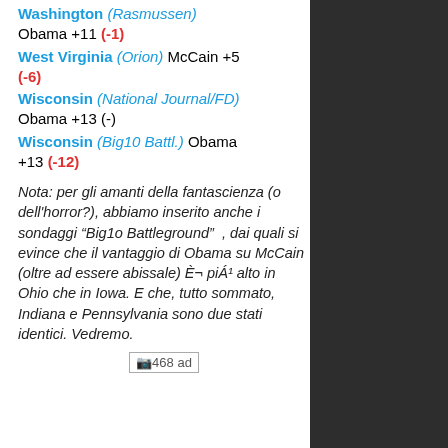Washington (Rasmussen) Obama +11 (-1)
West Virginia (Orion) McCain +5 (-6)
Wisconsin (National Journal/FD) Obama +13 (-)
Wisconsin (Big10 Battl.) Obama +13 (-12)
Nota: per gli amanti della fantascienza (o dell'horror?), abbiamo inserito anche i sondaggi “Big1o Battleground” , dai quali si evince che il vantaggio di Obama su McCain (oltre ad essere abissale) è più alto in Ohio che in Iowa. E che, tutto sommato, Indiana e Pennsylvania sono due stati identici. Vedremo.
[Figure (other): 468 ad placeholder image]